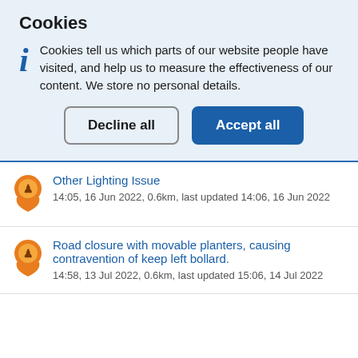Cookies
Cookies tell us which parts of our website people have visited, and help us to measure the effectiveness of our content. We store no personal details.
Decline all | Accept all
Other Lighting Issue
14:05, 16 Jun 2022, 0.6km, last updated 14:06, 16 Jun 2022
Road closure with movable planters, causing contravention of keep left bollard.
14:58, 13 Jul 2022, 0.6km, last updated 15:06, 14 Jul 2022